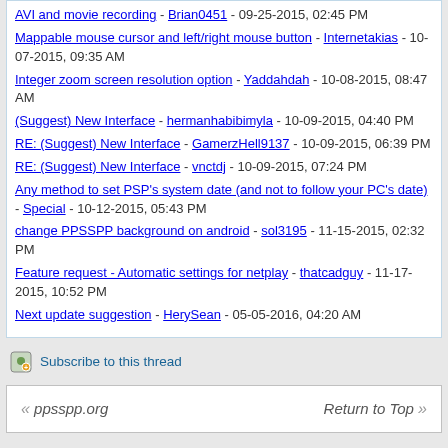AVI and movie recording - Brian0451 - 09-25-2015, 02:45 PM
Mappable mouse cursor and left/right mouse button - Internetakias - 10-07-2015, 09:35 AM
Integer zoom screen resolution option - Yaddahdah - 10-08-2015, 08:47 AM
(Suggest) New Interface - hermanhabibimyla - 10-09-2015, 04:40 PM
RE: (Suggest) New Interface - GamerzHell9137 - 10-09-2015, 06:39 PM
RE: (Suggest) New Interface - vnctdj - 10-09-2015, 07:24 PM
Any method to set PSP's system date (and not to follow your PC's date) - Special - 10-12-2015, 05:43 PM
change PPSSPP background on android - sol3195 - 11-15-2015, 02:32 PM
Feature request - Automatic settings for netplay - thatcadguy - 11-17-2015, 10:52 PM
Next update suggestion - HerySean - 05-05-2016, 04:20 AM
Subscribe to this thread
ppsspp.org
Return to Top
Powered by MyBB, mobile version by MyBB GoMobile. Switch to Full Version